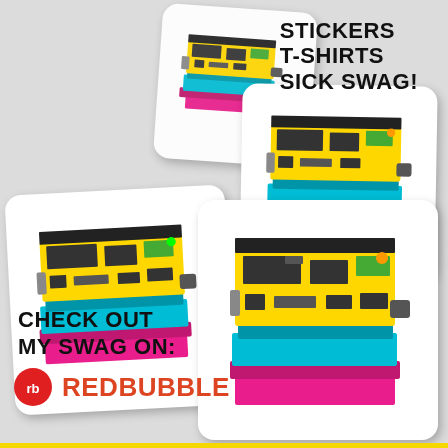[Figure (photo): Four white square coasters with rounded corners, each printed with a CMYK-colored Arduino/microcontroller board graphic in yellow, cyan/blue, and magenta. The coasters are arranged in a layered stack composition on a light grey background.]
STICKERS
T-SHIRTS
SICK SWAG!
CHECK OUT
MY SWAG ON:
REDBUBBLE